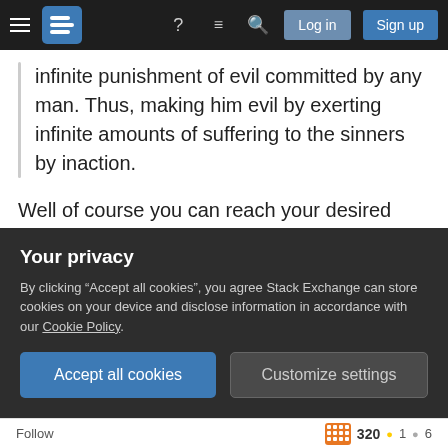Stack Exchange navigation bar with hamburger menu, logo, help, chat, search, Log in, Sign up buttons
infinite punishment of evil committed by any man. Thus, making him evil by exerting infinite amounts of suffering to the sinners by inaction.
Well of course you can reach your desired conclusion by assumption, or by making enough assumptions and definitions of your own choosing to support it. The result of such an effort is contingent on the validity of the assumptions and shaped by the definitions of the terms in which the argument is
Your privacy
By clicking “Accept all cookies”, you agree Stack Exchange can store cookies on your device and disclose information in accordance with our Cookie Policy.
Accept all cookies
Customize settings
Follow  320 ●1 ●6